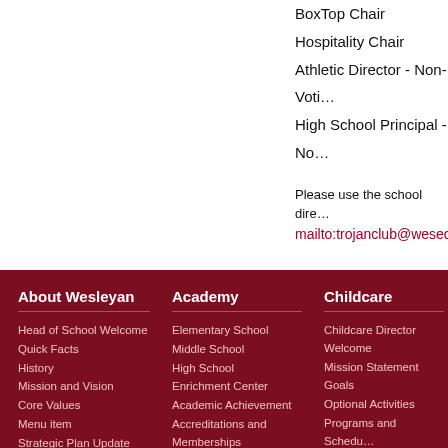BoxTop Chair
Hospitality Chair
Athletic Director - Non-Voti…
High School Principal - No…
Please use the school dire… mailto:trojanclub@wesed…
Upcoming Events
CHECK BACK AS WE…
About Wesleyan
Academy
Childcare
Head of School Welcome
Quick Facts
History
Mission and Vision
Core Values
Menu item
Strategic Plan Update
Directions
Elementary School
Middle School
High School
Enrichment Center
Academic Achievement
Accreditations and Memberships
All School Calendar
Childcare Director Welcome
Mission Statement
Goals
Optional Activities
Programs and Schedu…
Tuition and Fees
Request Information